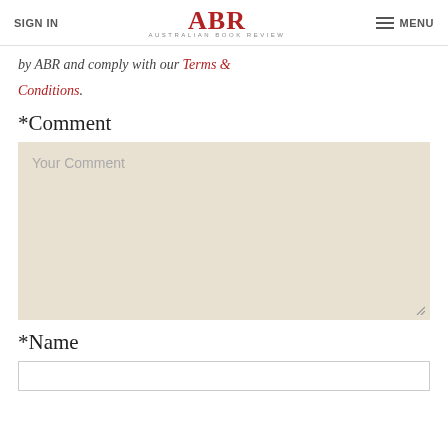SIGN IN | ABR Australian Book Review | MENU
by ABR and comply with our Terms & Conditions.
*Comment
Your Comment
*Name